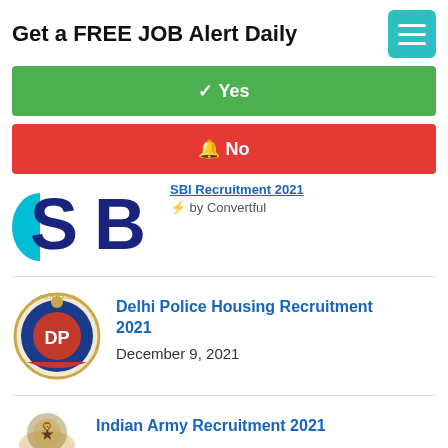Get a FREE JOB Alert Daily
[Figure (other): Teal hamburger menu icon button]
✓ Yes
🔔 No
[Figure (logo): SBI (State Bank of India) partial logo with blue letters]
SBI Recruitment 2021
⚡ by Convertful
[Figure (logo): Delhi Police emblem/badge logo]
Delhi Police Housing Recruitment 2021
December 9, 2021
[Figure (logo): Indian Army emblem logo (partial)]
Indian Army Recruitment 2021